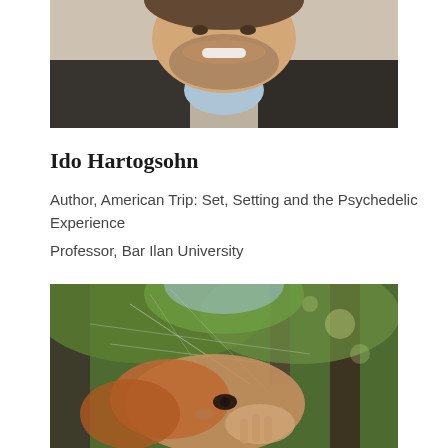[Figure (photo): Close-up photo of a smiling man with a beard wearing a dark jacket and light blue shirt, cropped to show face and upper chest]
Ido Hartogsohn
Author, American Trip: Set, Setting and the Psychedelic Experience
Professor, Bar Ilan University
[Figure (photo): Photo of a person lying down outdoors in a forest setting, looking upward, with trees and bokeh background visible, image appears slightly blurred/rotated]